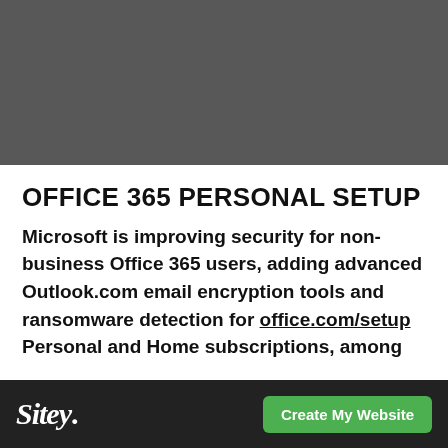[Figure (other): Dark gray header banner background]
OFFICE 365 PERSONAL SETUP
Microsoft is improving security for non-business Office 365 users, adding advanced Outlook.com email encryption tools and ransomware detection for office.com/setup Personal and Home subscriptions, among
Sitey. | Create My Website